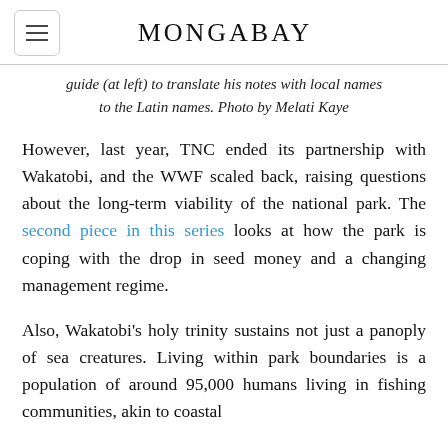MONGABAY
guide (at left) to translate his notes with local names to the Latin names. Photo by Melati Kaye
However, last year, TNC ended its partnership with Wakatobi, and the WWF scaled back, raising questions about the long-term viability of the national park. The second piece in this series looks at how the park is coping with the drop in seed money and a changing management regime.
Also, Wakatobi's holy trinity sustains not just a panoply of sea creatures. Living within park boundaries is a population of around 95,000 humans living in fishing communities, akin to coastal